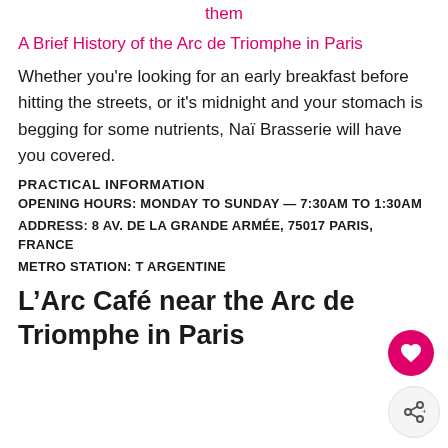them
A Brief History of the Arc de Triomphe in Paris
Whether you're looking for an early breakfast before hitting the streets, or it's midnight and your stomach is begging for some nutrients, Naï Brasserie will have you covered.
PRACTICAL INFORMATION
OPENING HOURS: MONDAY TO SUNDAY — 7:30AM TO 1:30AM
ADDRESS: 8 AV. DE LA GRANDE ARMÉE, 75017 PARIS, FRANCE
METRO STATION: T ARGENTINE
L'Arc Café near the Arc de Triomphe in Paris